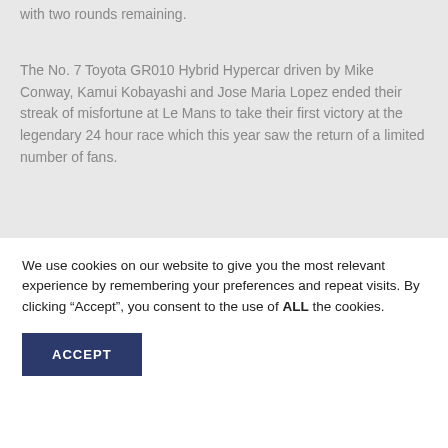with two rounds remaining.
The No. 7 Toyota GR010 Hybrid Hypercar driven by Mike Conway, Kamui Kobayashi and Jose Maria Lopez ended their streak of misfortune at Le Mans to take their first victory at the legendary 24 hour race which this year saw the return of a limited number of fans.
The Hypercar eventually finished two laps ahead of the sister No. 8 car with Brendon Hartley, Kazuki Nakajima and Sebastien Buemi sharing the wheel.
We use cookies on our website to give you the most relevant experience by remembering your preferences and repeat visits. By clicking “Accept”, you consent to the use of ALL the cookies.
ACCEPT